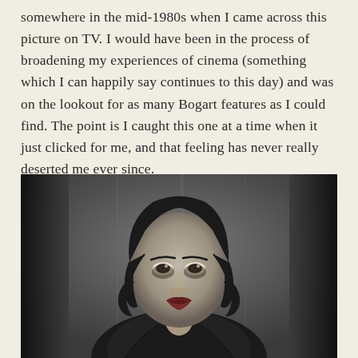somewhere in the mid-1980s when I came across this picture on TV. I would have been in the process of broadening my experiences of cinema (something which I can happily say continues to this day) and was on the lookout for as many Bogart features as I could find. The point is I caught this one at a time when it just clicked for me, and that feeling has never really deserted me ever since.
[Figure (photo): Black and white photograph or illustration of a woman with dark curly shoulder-length hair, wearing a dark outfit, looking slightly to the side. The image has a classic 1940s film noir aesthetic with a dark border/frame visible on the sides.]